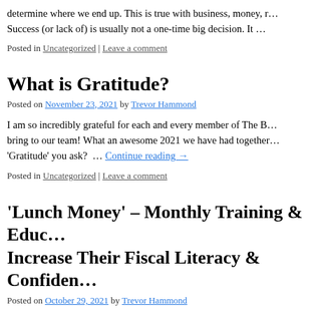determine where we end up. This is true with business, money, r… Success (or lack of) is usually not a one-time big decision. It …
Posted in Uncategorized | Leave a comment
What is Gratitude?
Posted on November 23, 2021 by Trevor Hammond
I am so incredibly grateful for each and every member of The B… bring to our team! What an awesome 2021 we have had together… 'Gratitude' you ask?  … Continue reading →
Posted in Uncategorized | Leave a comment
'Lunch Money' – Monthly Training & Educ… Increase Their Fiscal Literacy & Confiden…
Posted on October 29, 2021 by Trevor Hammond
This month I launched 'Lunch Money', a monthly training and…